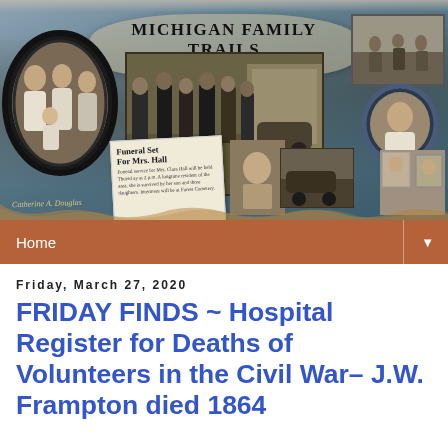[Figure (photo): Michigan Family Trails blog banner with vintage collage of old photographs, newspaper clippings, and portraits. Title reads 'MICHIGAN FAMILY TRAILS' with subtitle 'My journey to find & tell their stories'.]
Home
Friday, March 27, 2020
FRIDAY FINDS ~ Hospital Register for Deaths of Volunteers in the Civil War– J.W. Frampton died 1864